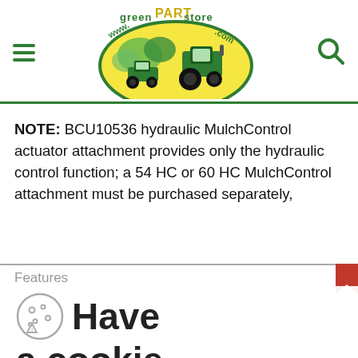[Figure (logo): www.greenPARTstore.com logo with green tractor and lawn mower on yellow-green background]
NOTE: BCU10536 hydraulic MulchControl actuator attachment provides only the hydraulic control function; a 54 HC or 60 HC MulchControl attachment must be purchased separately,
Features
Have a cookie
Accept the use of cookies on this site more information
⚠ Warning: Cancer and Reproductive Harm - www.P65Warnings.ca.gov
I Accept